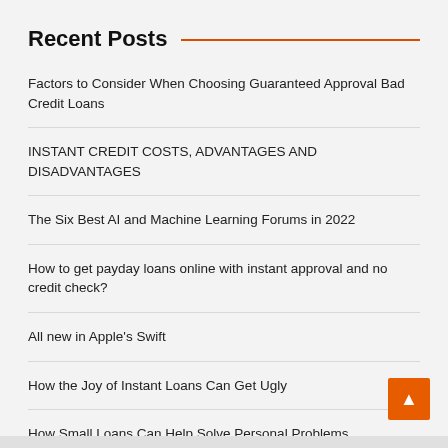Recent Posts
Factors to Consider When Choosing Guaranteed Approval Bad Credit Loans
INSTANT CREDIT COSTS, ADVANTAGES AND DISADVANTAGES
The Six Best AI and Machine Learning Forums in 2022
How to get payday loans online with instant approval and no credit check?
All new in Apple's Swift
How the Joy of Instant Loans Can Get Ugly
How Small Loans Can Help Solve Personal Problems